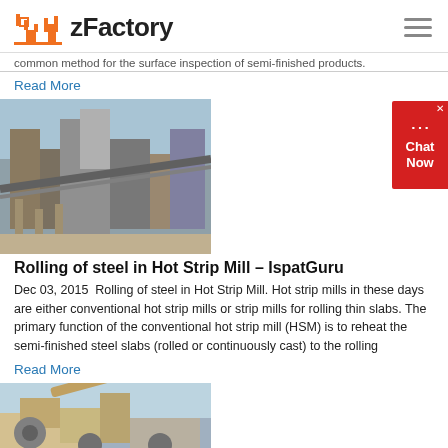zFactory
common method for the surface inspection of semi-finished products.
Read More
[Figure (photo): Industrial factory/mill equipment with conveyor belts and steel structures]
Rolling of steel in Hot Strip Mill – IspatGuru
Dec 03, 2015  Rolling of steel in Hot Strip Mill. Hot strip mills in these days are either conventional hot strip mills or strip mills for rolling thin slabs. The primary function of the conventional hot strip mill (HSM) is to reheat the semi-finished steel slabs (rolled or continuously cast) to the rolling
Read More
[Figure (photo): Construction/demolition equipment – excavator or heavy machinery outdoors]